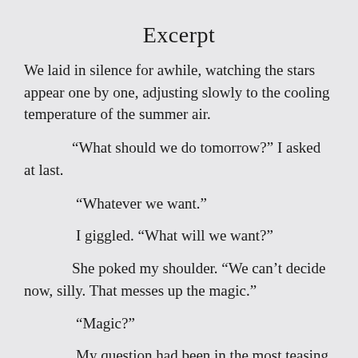Excerpt
We laid in silence for awhile, watching the stars appear one by one, adjusting slowly to the cooling temperature of the summer air.
“What should we do tomorrow?” I asked at last.
“Whatever we want.”
I giggled. “What will we want?”
She poked my shoulder. “We can’t decide now, silly. That messes up the magic.”
“Magic?”
My question had been in the most teasing